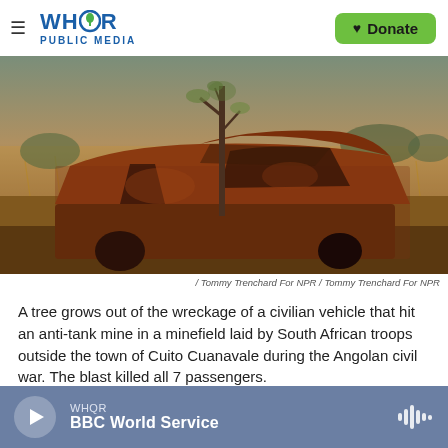WHQR PUBLIC MEDIA — Donate
[Figure (photo): A rusted, burned-out wreck of a civilian vehicle sits in a dry, grassy field. A thin tree grows up through the gutted interior. The vehicle's frame is heavily corroded, doors open, surrounded by dry grass and scrub trees in the background.]
/ Tommy Trenchard For NPR / Tommy Trenchard For NPR
A tree grows out of the wreckage of a civilian vehicle that hit an anti-tank mine in a minefield laid by South African troops outside the town of Cuito Cuanavale during the Angolan civil war. The blast killed all 7 passengers.
WHQR BBC World Service